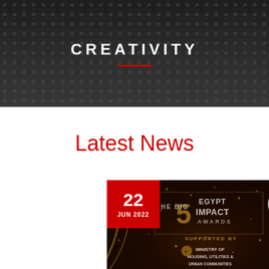CREATIVITY
Latest News
[Figure (photo): The Big 5 Egypt Impact Awards promotional image with date badge showing 22 JUN 2022, gold trophy numeral 5, text 'THE BIG 5 EGYPT IMPACT AWARDS', 'SUPPORTED BY', 'Ministry of Housing, Utilities & Urban Communities' with Egyptian coat of arms logo on dark background with golden sparkles]